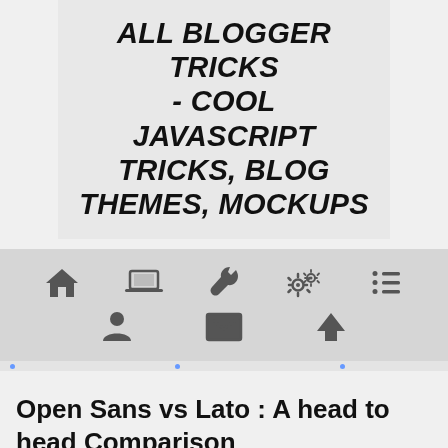ALL BLOGGER TRICKS - COOL JAVASCRIPT TRICKS, BLOG THEMES, MOCKUPS
[Figure (screenshot): Navigation bar with icons: home, laptop, wrench, settings/gears, list, person, envelope, arrow up]
Open Sans vs Lato : A head to head Comparison